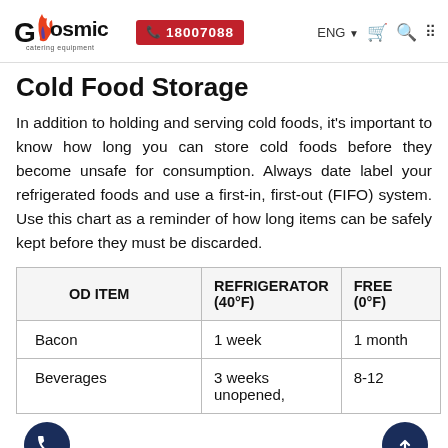Cosmic Catering Equipment | 18007088 | ENG | Cart | Search | Menu
Cold Food Storage
In addition to holding and serving cold foods, it's important to know how long you can store cold foods before they become unsafe for consumption. Always date label your refrigerated foods and use a first-in, first-out (FIFO) system. Use this chart as a reminder of how long items can be safely kept before they must be discarded.
| FOOD ITEM | REFRIGERATOR (40°F) | FREEZER (0°F) |
| --- | --- | --- |
| Bacon | 1 week | 1 month |
| Beverages | 3 weeks unopened, | 8-12 |